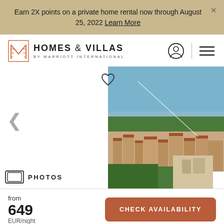Earn 2X points on a private home rental now through August 25, 2022 Learn More
[Figure (logo): Homes & Villas by Marriott International logo with decorative M icon]
[Figure (photo): Aerial/elevated view of a Mediterranean coastal town with red-tiled roofs, white buildings, trees, and blue sky]
PHOTOS
from
649
EUR/night
CHECK AVAILABILITY